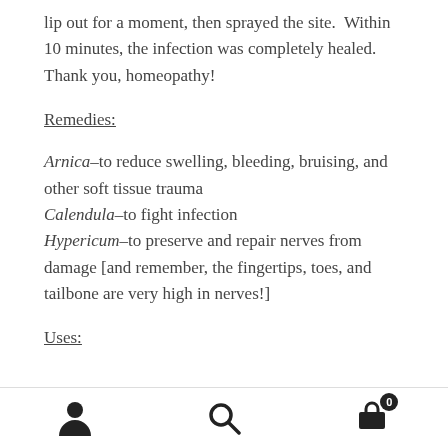lip out for a moment, then sprayed the site.  Within 10 minutes, the infection was completely healed.  Thank you, homeopathy!
Remedies:
Arnica–to reduce swelling, bleeding, bruising, and other soft tissue trauma
Calendula–to fight infection
Hypericum–to preserve and repair nerves from damage [and remember, the fingertips, toes, and tailbone are very high in nerves!]
Uses:
[user icon] [search icon] [cart icon with badge 0]